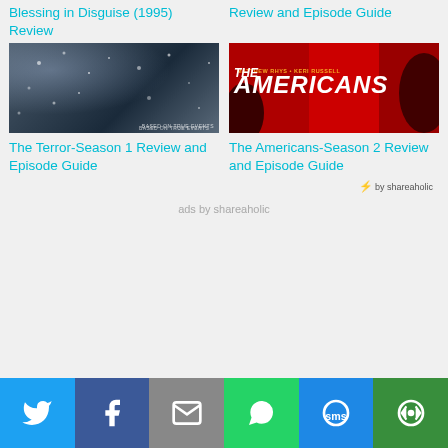Blessing in Disguise (1995) Review
Review and Episode Guide
[Figure (photo): Dark snowy atmospheric image with text 'BASED ON TRUE EVENTS' — promotional image for The Terror Season 1]
The Terror-Season 1 Review and Episode Guide
[Figure (photo): Red-tinted promotional image for The Americans showing show title text 'MATTHEW RHYS + KERI RUSSELL THE AMERICANS' in white bold italic on red background]
The Americans-Season 2 Review and Episode Guide
⚡ by shareaholic
ads by shareaholic